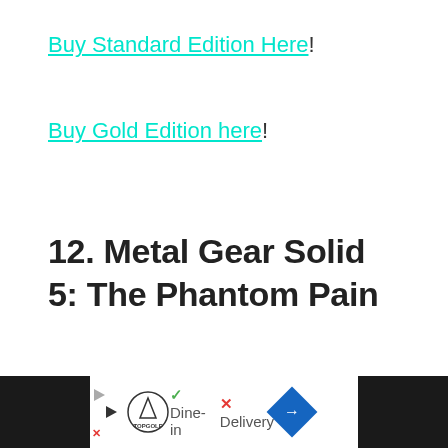Buy Standard Edition Here!
Buy Gold Edition here!
12. Metal Gear Solid 5: The Phantom Pain
[Figure (other): Empty white content placeholder box with light border]
Advertisement bar: Topgolf logo, Dine-in, Delivery options, navigation and audio icons